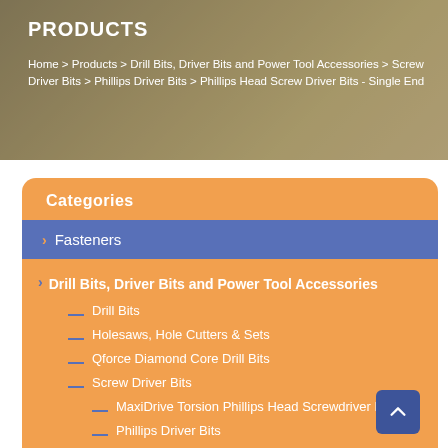PRODUCTS
Home > Products > Drill Bits, Driver Bits and Power Tool Accessories > Screw Driver Bits > Phillips Driver Bits > Phillips Head Screw Driver Bits - Single End
Categories
Fasteners
Drill Bits, Driver Bits and Power Tool Accessories
Drill Bits
Holesaws, Hole Cutters & Sets
Qforce Diamond Core Drill Bits
Screw Driver Bits
MaxiDrive Torsion Phillips Head Screwdriver Bits
Phillips Driver Bits
Phillips Drywall Bit
Phillips Head Reduced Shank Driver Bits
Phillips Head Screw Driver Bits - Double End
Phillips Head Screw Driver Bits - Single End